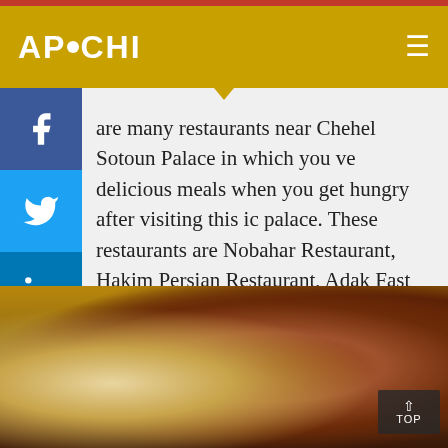APOCHI
are many restaurants near Chehel Sotoun Palace in which you ve delicious meals when you get hungry after visiting this ic palace. These restaurants are Nobahar Restaurant, Hakim Persian Restaurant, Adak Fast Food Restaurant, Venice urant, Saraye Simorgh Restaurant, Shahrzad Restaurant, Malek Jarchibashi Restaurant, Grandma’s Table, Azam Beryani, and iari Restaurant.
[Figure (photo): Photo of Persian food: rice dish and grilled meat/kabab on a plate]